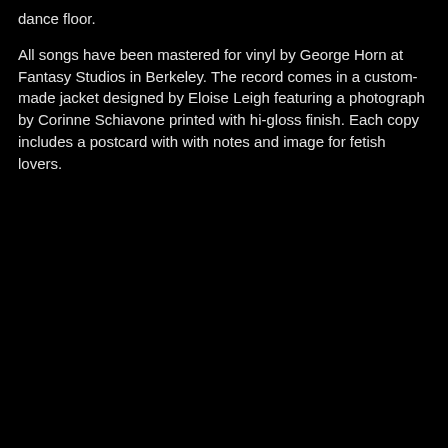dance floor.
All songs have been mastered for vinyl by George Horn at Fantasy Studios in Berkeley. The record comes in a custom-made jacket designed by Eloise Leigh featuring a photograph by Corinne Schiavone printed with hi-gloss finish. Each copy includes a postcard with with notes and image for fetish lovers.